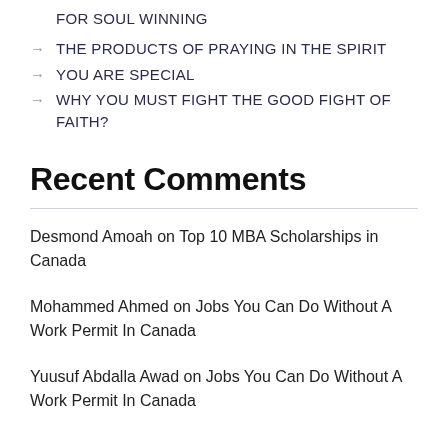FOR SOUL WINNING
THE PRODUCTS OF PRAYING IN THE SPIRIT
YOU ARE SPECIAL
WHY YOU MUST FIGHT THE GOOD FIGHT OF FAITH?
Recent Comments
Desmond Amoah on Top 10 MBA Scholarships in Canada
Mohammed Ahmed on Jobs You Can Do Without A Work Permit In Canada
Yuusuf Abdalla Awad on Jobs You Can Do Without A Work Permit In Canada